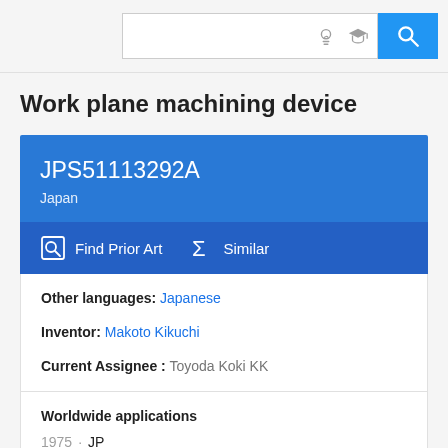Search bar with icons
Work plane machining device
JPS51113292A
Japan
Find Prior Art   Similar
Other languages: Japanese
Inventor: Makoto Kikuchi
Current Assignee: Toyoda Koki KK
Worldwide applications
1975 · JP